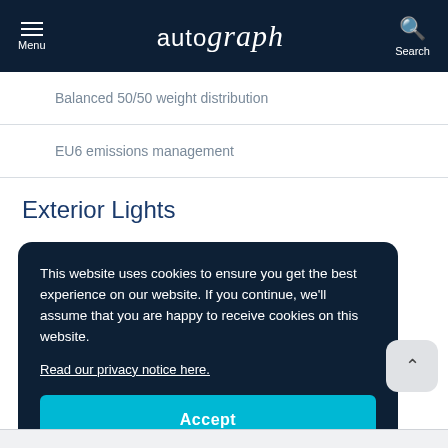Menu | autograph | Search
Balanced 50/50 weight distribution
EU6 emissions management
Exterior Lights
This website uses cookies to ensure you get the best experience on our website. If you continue, we'll assume that you are happy to receive cookies on this website.
Read our privacy notice here.
Accept